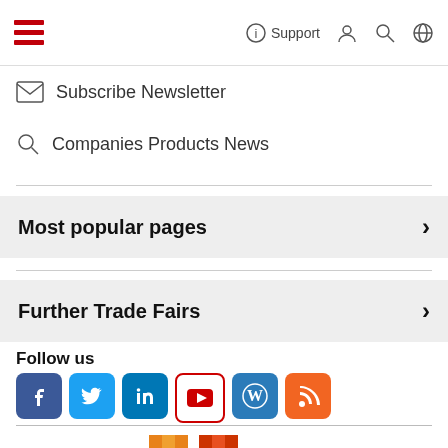Subscribe Newsletter  Companies Products News  Support
Subscribe Newsletter
Companies Products News
Most popular pages
Further Trade Fairs
Follow us
[Figure (logo): Messe logo with colorful pixel-style M letters in orange/red/yellow]
Messe